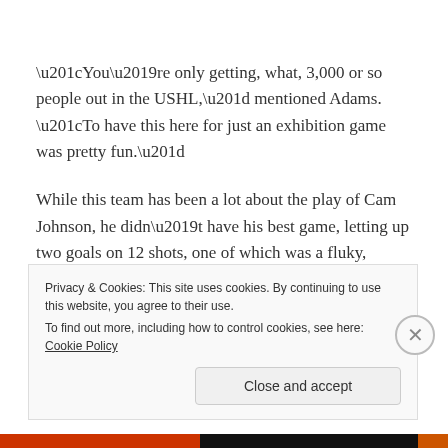“You’re only getting, what, 3,000 or so people out in the USHL,” mentioned Adams. “To have this here for just an exhibition game was pretty fun.”
While this team has been a lot about the play of Cam Johnson, he didn’t have his best game, letting up two goals on 12 shots, one of which was a fluky, bouncing puck in the second that was credited to Calvin Spencer. Freshman Peter Thome took over for the third and
Privacy & Cookies: This site uses cookies. By continuing to use this website, you agree to their use.
To find out more, including how to control cookies, see here: Cookie Policy
Close and accept